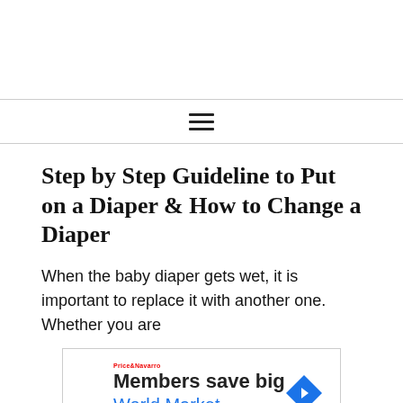Step by Step Guideline to Put on a Diaper & How to Change a Diaper
When the baby diaper gets wet, it is important to replace it with another one. Whether you are
[Figure (other): Advertisement banner: Members save big World Market, with a blue diamond navigation arrow icon, a red brand logo, and play/close icons at bottom left.]